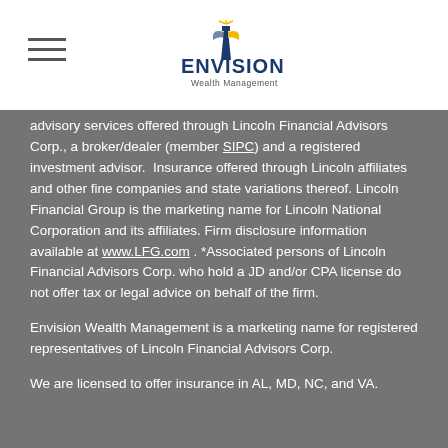Envision Wealth Management
advisory services offered through Lincoln Financial Advisors Corp., a broker/dealer (member SIPC) and a registered investment advisor. Insurance offered through Lincoln affiliates and other fine companies and state variations thereof. Lincoln Financial Group is the marketing name for Lincoln National Corporation and its affiliates. Firm disclosure information available at www.LFG.com . *Associated persons of Lincoln Financial Advisors Corp. who hold a JD and/or CPA license do not offer tax or legal advice on behalf of the firm.
Envision Wealth Management is a marketing name for registered representatives of Lincoln Financial Advisors Corp.
We are licensed to offer insurance in AL, MD, NC, and VA.